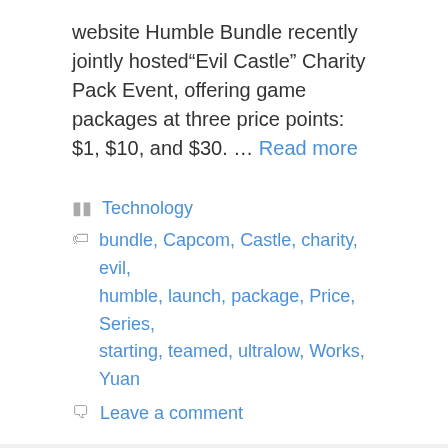website Humble Bundle recently jointly hosted“Evil Castle” Charity Pack Event, offering game packages at three price points: $1, $10, and $30. … Read more
Technology
bundle, Capcom, Castle, charity, evil, humble, launch, package, Price, Series, starting, teamed, ultralow, Works, Yuan
Leave a comment
TSMC plans to pay dividends of 2.75 yuan in Q2, Winbond is under